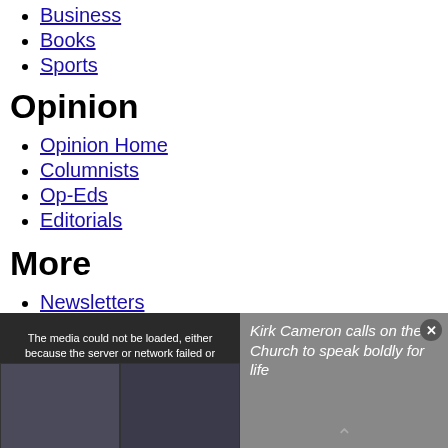Business
Books
Sports
Opinion
Opinion Home
Columnists
Op-Eds
Editorials
More
Newsletters
Videos
Podcasts
CP Magazine
[Figure (screenshot): Video player overlay showing error message 'The media could not be loaded, either because the server or network failed or because the format is not supported.' with two video thumbnails on left and article title 'Kirk Cameron calls on the Church to speak boldly for life' on the right over gray background, with close button and chevron.]